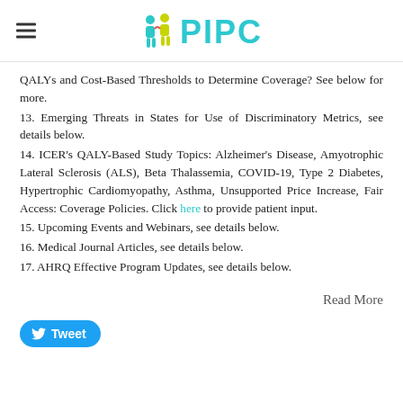PIPC
QALYs and Cost-Based Thresholds to Determine Coverage? See below for more.
13. Emerging Threats in States for Use of Discriminatory Metrics, see details below.
14. ICER's QALY-Based Study Topics: Alzheimer's Disease, Amyotrophic Lateral Sclerosis (ALS), Beta Thalassemia, COVID-19, Type 2 Diabetes, Hypertrophic Cardiomyopathy, Asthma, Unsupported Price Increase, Fair Access: Coverage Policies. Click here to provide patient input.
15. Upcoming Events and Webinars, see details below.
16. Medical Journal Articles, see details below.
17. AHRQ Effective Program Updates, see details below.
Read More
Tweet